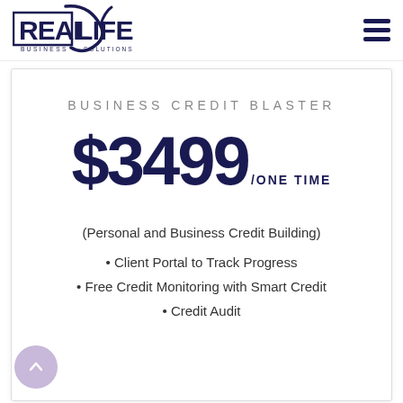[Figure (logo): Real Life Business Solutions logo — bold dark navy text 'REAL LIFE' with stylized checkmark/leaf swoosh, 'BUSINESS SOLUTIONS' beneath in spaced caps]
BUSINESS CREDIT BLASTER
$3499/ONE TIME
(Personal and Business Credit Building)
• Client Portal to Track Progress
• Free Credit Monitoring with Smart Credit
• Credit Audit